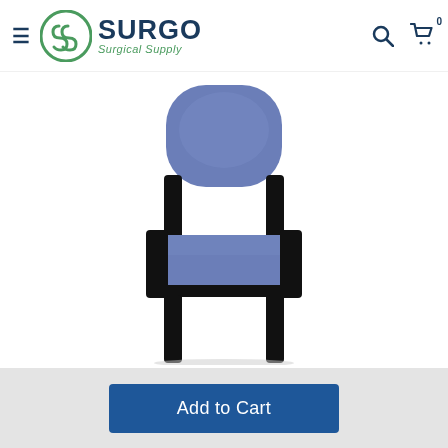Surgo Surgical Supply
[Figure (photo): A blue upholstered waiting room or side chair with black metal frame, viewed from the front, on a white background.]
Add to Cart